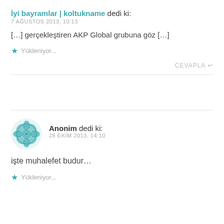İyi bayramlar | koltukname dedi ki:
7 AĞUSTOS 2013, 10:13
[…] gerçekleştiren AKP Global grubuna göz […]
Yükleniyor...
CEVAPLA
Anonim dedi ki:
28 EKİM 2013, 14:10
işte muhalefet budur…
Yükleniyor...